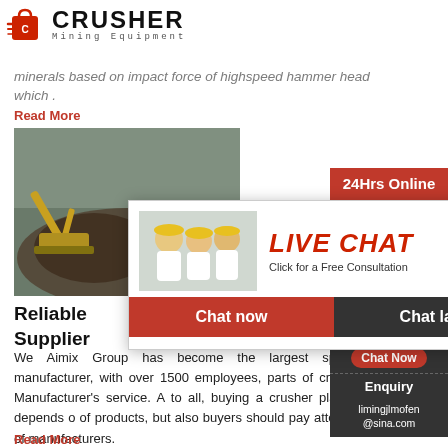[Figure (logo): Crusher Mining Equipment logo with red shopping bag icon and bold CRUSHER text]
minerals based on impact force of highspeed hammer head which .
Read More
[Figure (photo): Mining site with excavator and rocks]
[Figure (photo): Live chat popup with workers in hard hats, LIVE CHAT title, Chat now and Chat later buttons]
Reliable
Supplier
[Figure (photo): 24Hrs Online sidebar with customer service agent photo, Need questions & suggestion chat now, Enquiry, limingjlmofen@sina.com]
We Aimix Group has become the largest specia plant manufacturer, with over 1500 employees, parts of crush plant 3. Manufacturer's service. A to all, buying a crusher plant not only depends o of products, but also buyers should pay attentio service of manufacturers.
Read More